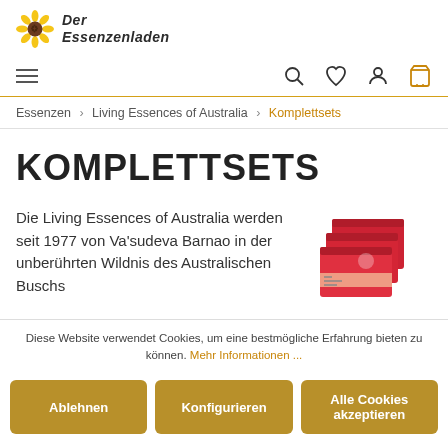[Figure (logo): Der Essenzenladen logo with sunflower icon and stylized text]
Navigation bar with hamburger menu, search, wishlist, account, and cart icons
Essenzen > Living Essences of Australia > Komplettsets
KOMPLETTSETS
Die Living Essences of Australia werden seit 1977 von Va'sudeva Barnao in der unberührten Wildnis des Australischen Buschs
[Figure (photo): Stack of red product boxes for Living Essences of Australia]
Diese Website verwendet Cookies, um eine bestmögliche Erfahrung bieten zu können. Mehr Informationen ...
Ablehnen | Konfigurieren | Alle Cookies akzeptieren